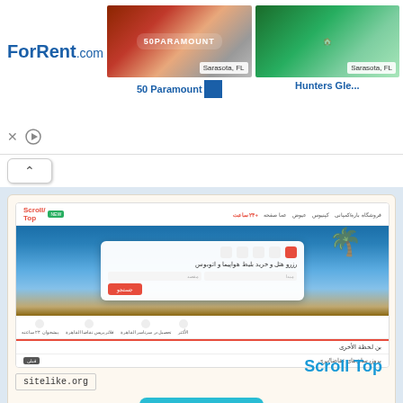[Figure (screenshot): ForRent.com advertisement banner showing two apartment listings: '50 Paramount' and 'Hunters Gle...' both in Sarasota, FL with property photos]
50 Paramount
Hunters Gle...
Sarasota, FL
[Figure (screenshot): Screenshot of a travel/hotel booking website (Scroll Top) with Arabic text interface, hero image of beach with palm tree, search box, and site features section. Shows sitelike.org watermark.]
Scroll Top
sitelike.org
[Figure (other): Like button with heart icon showing count of 0, in cyan/teal color]